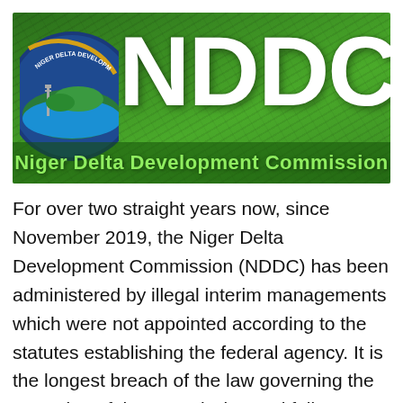[Figure (logo): NDDC (Niger Delta Development Commission) banner image with green background, circular logo on the left, large white 'NDDC' text, and subtitle 'Niger Delta Development Commission' in green text at the bottom of the banner.]
For over two straight years now, since November 2019, the Niger Delta Development Commission (NDDC) has been administered by illegal interim managements which were not appointed according to the statutes establishing the federal agency. It is the longest breach of the law governing the operation of the commission and follows a pattern of disregard for the rule of law that should define